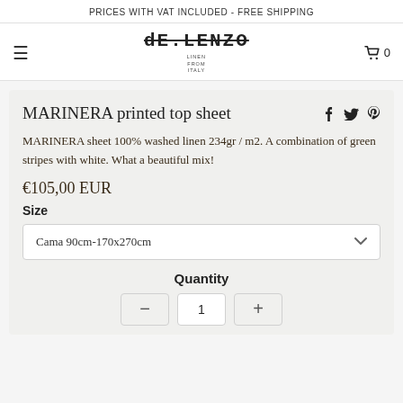PRICES WITH VAT INCLUDED - FREE SHIPPING
[Figure (logo): dE.LENZO linen from Italy brand logo with strikethrough text styling and small subtext 'LINEN FROM ITALY']
MARINERA printed top sheet
MARINERA sheet 100% washed linen 234gr / m2. A combination of green stripes with white. What a beautiful mix!
€105,00 EUR
Size
Cama 90cm-170x270cm
Quantity
1